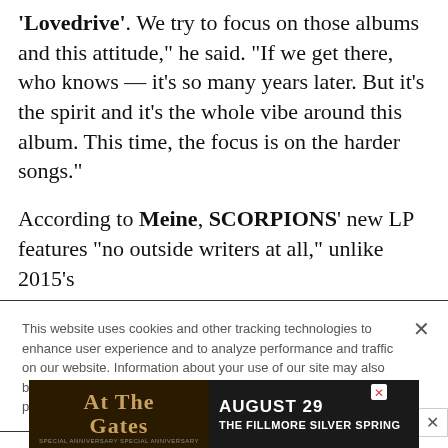'Lovedrive'. We try to focus on those albums and this attitude," he said. "If we get there, who knows — it's so many years later. But it's the spirit and it's the whole vibe around this album. This time, the focus is on the harder songs."
According to Meine, SCORPIONS' new LP features "no outside writers at all," unlike 2015's
This website uses cookies and other tracking technologies to enhance user experience and to analyze performance and traffic on our website. Information about your use of our site may also be shared with social media, advertising, retail and analytics providers and partners. Privacy Policy
[Figure (infographic): Advertisement banner for 'At The Gates' concert at The Fillmore Silver Spring on August 29, with dark background and band imagery.]